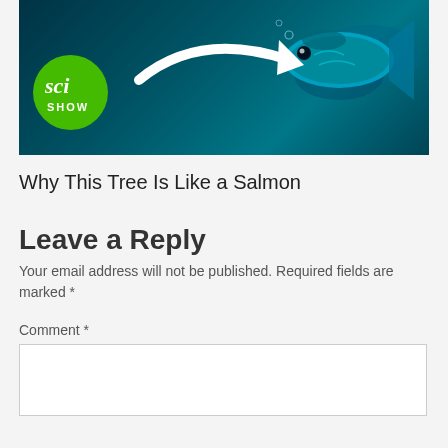[Figure (screenshot): SciShow YouTube thumbnail showing a salmon/fish underwater with a green SciShow logo circle on the left and a white arrow graphic]
Why This Tree Is Like a Salmon
Leave a Reply
Your email address will not be published. Required fields are marked *
Comment *
[Figure (other): Empty comment text area input box]